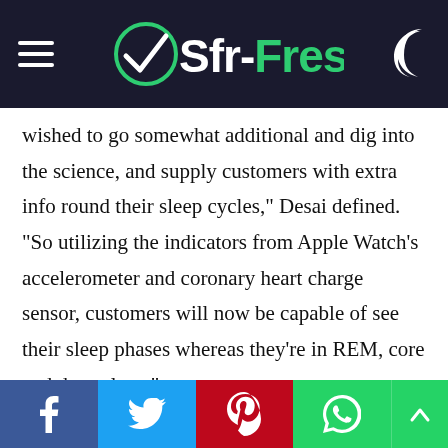Sfr-Fresh
wished to go somewhat additional and dig into the science, and supply customers with extra info round their sleep cycles,” Desai defined. “So utilizing the indicators from Apple Watch’s accelerometer and coronary heart charge sensor, customers will now be capable of see their sleep phases whereas they’re in REM, core and deep sleep.”
Apple’s use of “core” to outline the kind of sleep customers spend the majority of their nights engaged in, which is extra generally referred to by different sleep-stage trackers as “gentle,” is an fascinating break from the sector: The corporate discovered that “gentle” wasn’t actually one of the
f  Twitter  P  WhatsApp